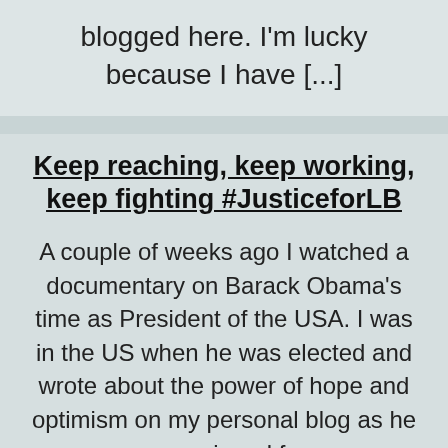blogged here. I'm lucky because I have [...]
Keep reaching, keep working, keep fighting #JusticeforLB
A couple of weeks ago I watched a documentary on Barack Obama's time as President of the USA. I was in the US when he was elected and wrote about the power of hope and optimism on my personal blog as he campaigned for